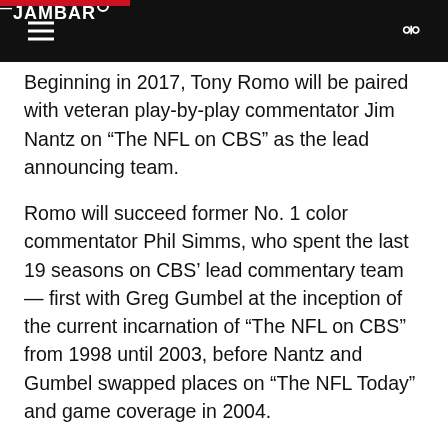THE JAMBAR
Beginning in 2017, Tony Romo will be paired with veteran play-by-play commentator Jim Nantz on “The NFL on CBS” as the lead announcing team.
Romo will succeed former No. 1 color commentator Phil Simms, who spent the last 19 seasons on CBS’ lead commentary team — first with Greg Gumbel at the inception of the current incarnation of “The NFL on CBS” from 1998 until 2003, before Nantz and Gumbel swapped places on “The NFL Today” and game coverage in 2004.
All told, Simms has spent the past 23 seasons in broadcasting, spending the 1994 season at ESPN as a studio analyst before joining NBC’s top broadcast crew in 1995 with Dick Enberg and Paul Maguire. Both